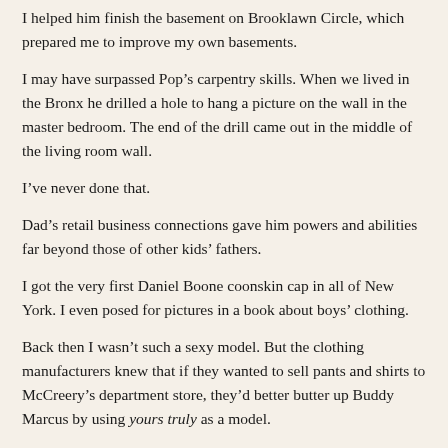I helped him finish the basement on Brooklawn Circle, which prepared me to improve my own basements.
I may have surpassed Pop's carpentry skills. When we lived in the Bronx he drilled a hole to hang a picture on the wall in the master bedroom. The end of the drill came out in the middle of the living room wall.
I've never done that.
Dad's retail business connections gave him powers and abilities far beyond those of other kids' fathers.
I got the very first Daniel Boone coonskin cap in all of New York. I even posed for pictures in a book about boys' clothing.
Back then I wasn't such a sexy model. But the clothing manufacturers knew that if they wanted to sell pants and shirts to McCreery's department store, they'd better butter up Buddy Marcus by using yours truly as a model.
Dad's connections easily got me into the audience of Captain